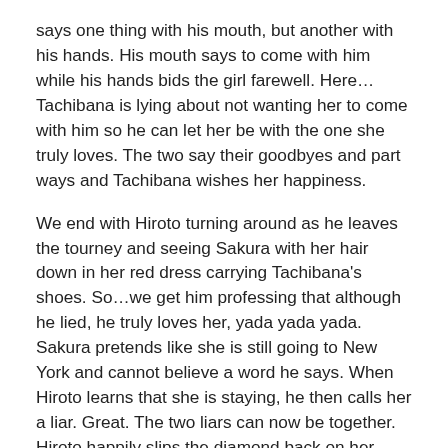says one thing with his mouth, but another with his hands. His mouth says to come with him while his hands bids the girl farewell. Here…Tachibana is lying about not wanting her to come with him so he can let her be with the one she truly loves. The two say their goodbyes and part ways and Tachibana wishes her happiness.
We end with Hiroto turning around as he leaves the tourney and seeing Sakura with her hair down in her red dress carrying Tachibana's shoes. So…we get him professing that although he lied, he truly loves her, yada yada yada. Sakura pretends like she is still going to New York and cannot believe a word he says. When Hiroto learns that she is staying, he then calls her a liar. Great. The two liars can now be together. Hiroto happily slips the diamond back on her hand and they two hug and … that's where this show ends!!!!